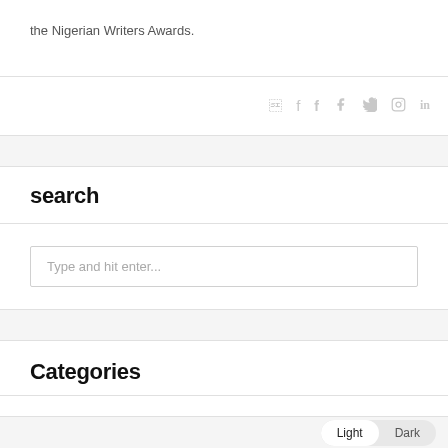the Nigerian Writers Awards.
social icons: facebook, twitter, instagram, linkedin
search
Type and hit enter...
Categories
Light  Dark